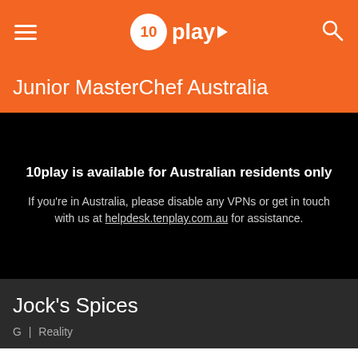10play
Junior MasterChef Australia
10play is available for Australian residents only
If you're in Australia, please disable any VPNs or get in touch with us at helpdesk.tenplay.com.au for assistance.
Jock's Spices
G | Reality